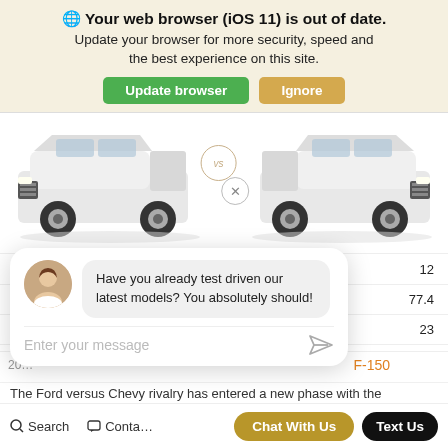🌐 Your web browser (iOS 11) is out of date. Update your browser for more security, speed and the best experience on this site.
Update browser | Ignore
[Figure (photo): Two white pickup trucks shown side by side for comparison: a Chevrolet Silverado on the left and a Ford F-150 on the right, with a 'vs' badge between them and an X close button.]
|  | Value |
| --- | --- |
| (rows partially hidden) | 12 |
| (ft.) | 77.4 |
| (pg) | 23 |
Have you already test driven our latest models? You absolutely should!
Enter your message
F-150
The Ford versus Chevy rivalry has entered a new phase with the
Search   Contact   Chat With Us   Text Us